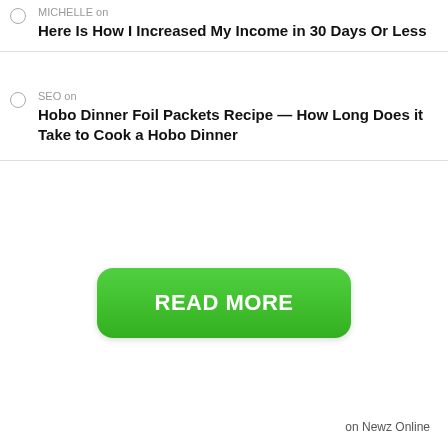MICHELLE on
Here Is How I Increased My Income in 30 Days Or Less
SEO on
Hobo Dinner Foil Packets Recipe — How Long Does it Take to Cook a Hobo Dinner
[Figure (other): Green rounded rectangle button with white bold text READ MORE]
on Newz Online